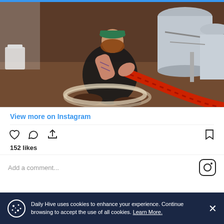[Figure (photo): Instagram post screenshot showing a tattooed person in a green cap crouching on a brewery floor, handling a large red corrugated hose connected to stainless steel brewing tanks.]
View more on Instagram
152 likes
Add a comment...
Daily Hive uses cookies to enhance your experience. Continue browsing to accept the use of all cookies. Learn More.